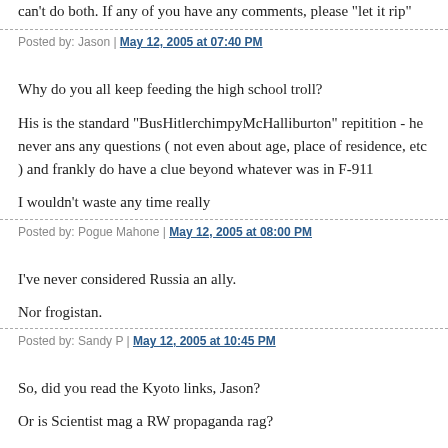can't do both. If any of you have any comments, please "let it rip"
Posted by: Jason | May 12, 2005 at 07:40 PM
Why do you all keep feeding the high school troll?
His is the standard "BusHitlerchimpyMcHalliburton" repitition - he never ans any questions ( not even about age, place of residence, etc ) and frankly do have a clue beyond whatever was in F-911
I wouldn't waste any time really
Posted by: Pogue Mahone | May 12, 2005 at 08:00 PM
I've never considered Russia an ally.
Nor frogistan.
Posted by: Sandy P | May 12, 2005 at 10:45 PM
So, did you read the Kyoto links, Jason?
Or is Scientist mag a RW propaganda rag?
As I suggested, read the brouhaha about the hockeystick computation.